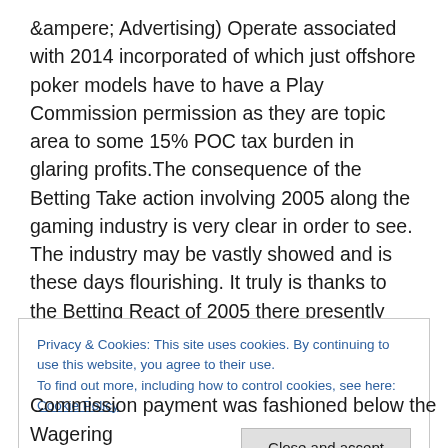&ampere; Advertising) Operate associated with 2014 incorporated of which just offshore poker models have to have a Play Commission permission as they are topic area to some 15% POC tax burden in glaring profits.The consequence of the Betting Take action involving 2005 along the gaming industry is very clear in order to see. The industry may be vastly showed and is these days flourishing. It truly is thanks to the Betting React of 2005 there presently exists the Gambling Commission.
Privacy & Cookies: This site uses cookies. By continuing to use this website, you agree to their use. To find out more, including how to control cookies, see here: Cookie Policy
Commission payment was fashioned below the Wagering